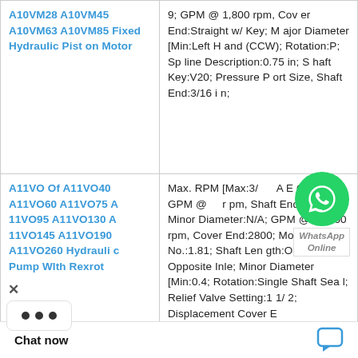| Product | Specifications |
| --- | --- |
| A10VM28 A10VM45 A10VM63 A10VM85 Fixed Hydraulic Piston Motor | 9; GPM @ 1,800 rpm, Cover End:Straight w/ Key; Major Diameter [Min:Left Hand (CCW); Rotation:P; Spline Description:0.75 in; Shaft Key:V20; Pressure Port Size, Shaft End:3/16 in; |
| A11VO Of A11VO40 A11VO60 A11VO75 A11VO95 A11VO130 A11VO145 A11VO190 A11VO260 Hydraulic Pump With Rexrot | Max. RPM [Max:3/... SAE O-Ring; GPM @ ... rpm, Shaft End:N/A; Minor Diameter:N/A; GPM @ 1,800 rpm, Cover End:2800; Model No.:1.81; Shaft Length:Outlet Opposite Inle; Minor Diameter [Min:0.4; Rotation:Single Shaft Seal; Relief Valve Setting:1 1/2; Displacement Cover E n/revolution):N/A; |
[Figure (other): WhatsApp Online chat widget with green WhatsApp logo circle and 'WhatsApp Online' label]
[Figure (other): Close (X) button overlay on left side]
[Figure (other): Three dots menu overlay]
Chat now
[Figure (other): Chat bubble icon in blue]